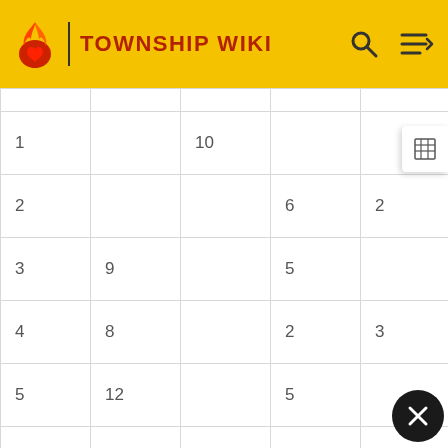TOWNSHIP WIKI
|  |  |  |  |  |
| --- | --- | --- | --- | --- |
| 1 |  | 10 |  |  |
| 2 |  |  | 6 | 2 |
| 3 | 9 |  | 5 |  |
| 4 | 8 |  | 2 | 3 |
| 5 | 12 |  | 5 |  |
| 6 |  | 15 |  |  |
| 7 | 17 |  |  | 2 |
| 8 | 8 | 5 | 4 | 1 |
| 9 | 12 |  | 7 |  |
| 10 | 6 | 8 |  | 4 |